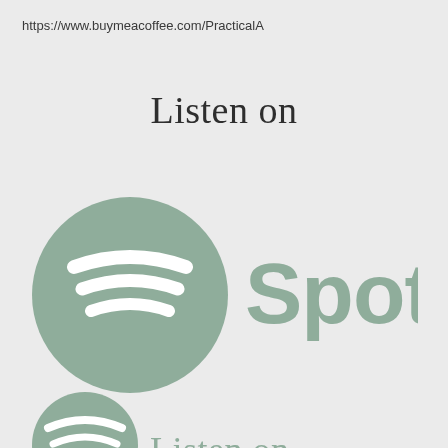https://www.buymeacoffee.com/PracticalA
Listen on
[Figure (logo): Spotify logo in muted sage green color, consisting of a circular icon with three horizontal curved lines (the Spotify symbol) on the left, followed by the word 'Spotify' in large sans-serif text on the right.]
[Figure (logo): Partial Spotify-style logo partially visible at the bottom of the page, showing the top portion of a circular icon and partial 'Listen on' text in muted sage green.]